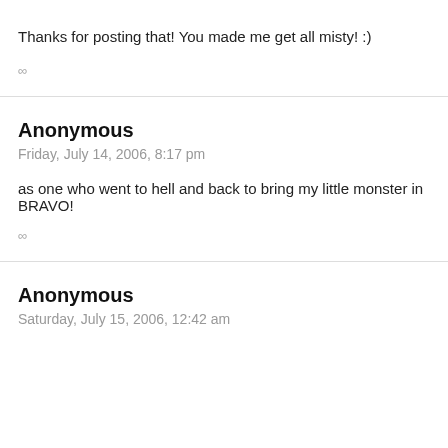Thanks for posting that! You made me get all misty! :)
∞
Anonymous
Friday, July 14, 2006, 8:17 pm
as one who went to hell and back to bring my little monster in BRAVO!
∞
Anonymous
Saturday, July 15, 2006, 12:42 am